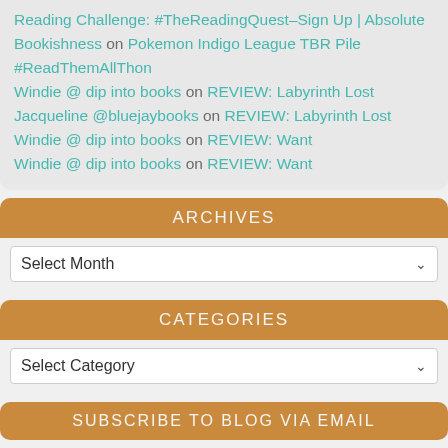Reading Challenge: #TheReadingQuest–Sign Up | Absolute Bookishness on Pokemon Indigo League TBR Pile #ReadThemAllThon
Windie @ dip into books on REVIEW: Labyrinth Lost
Jacqueline @bluejaybooks on REVIEW: Labyrinth Lost
Windie @ dip into books on REVIEW: Want
Windie @ dip into books on REVIEW: Want
ARCHIVES
Select Month
CATEGORIES
Select Category
SUBSCRIBE TO BLOG VIA EMAIL
Enter your email address to subscribe to this blog and receive